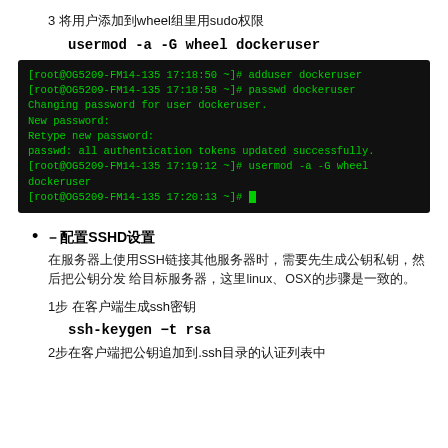3 将用户添加到wheel组里用sudo权限
usermod -a -G wheel dockeruser
[Figure (screenshot): Terminal screenshot showing: adduser dockeruser, passwd dockeruser, Changing password for user dockeruser., New password:, Retype new password:, passwd: all authentication tokens updated successfully., usermod -a -G wheel dockeruser, [root@OG5209-FM14-135 17:20:13 ~]#]
－配置SSHD设置
在服务器上使用SSH链接其他服务器时，需要先生成公钥私钥，然后把公钥分发 给目标服务器，这里linux、OSX的步骤是一致的。
1步 在客户端生成ssh密钥
ssh-keygen −t rsa
2步在客户端把公钥追加到.ssh目录的认证列表中